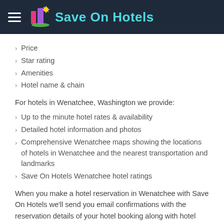Save On Hotels
Price
Star rating
Amenities
Hotel name & chain
For hotels in Wenatchee, Washington we provide:
Up to the minute hotel rates & availability
Detailed hotel information and photos
Comprehensive Wenatchee maps showing the locations of hotels in Wenatchee and the nearest transportation and landmarks
Save On Hotels Wenatchee hotel ratings
When you make a hotel reservation in Wenatchee with Save On Hotels we'll send you email confirmations with the reservation details of your hotel booking along with hotel contact details, directions, information on nearby Wenatchee attractions, and if you get stuck, we're only a phone call away.
To make the most of our service, check back frequently to view up to the minute Wenatchee hotel savings.